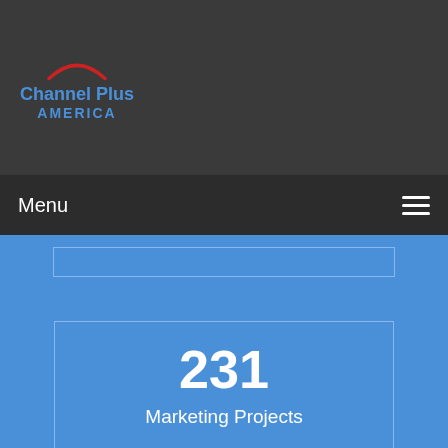[Figure (logo): Channel Plus America logo with red arc above blue text reading 'Channel Plus AMERICA']
Menu
231
Marketing Projects
3063
Articles and Press Releases